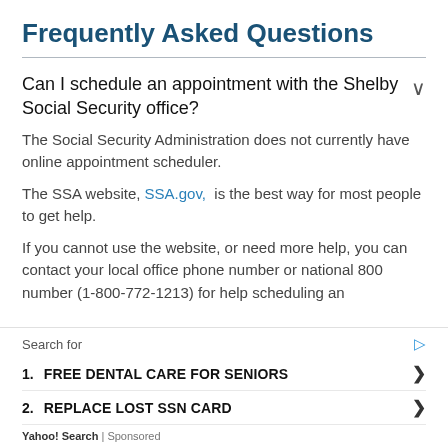Frequently Asked Questions
Can I schedule an appointment with the Shelby Social Security office?
The Social Security Administration does not currently have online appointment scheduler.
The SSA website, SSA.gov, is the best way for most people to get help.
If you cannot use the website, or need more help, you can contact your local office phone number or national 800 number (1-800-772-1213) for help scheduling an
Search for
1. FREE DENTAL CARE FOR SENIORS
2. REPLACE LOST SSN CARD
Yahoo! Search | Sponsored